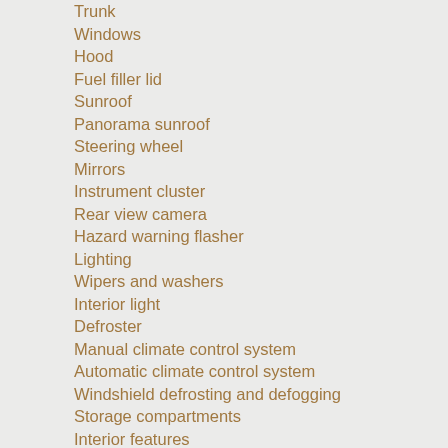Trunk
Windows
Hood
Fuel filler lid
Sunroof
Panorama sunroof
Steering wheel
Mirrors
Instrument cluster
Rear view camera
Hazard warning flasher
Lighting
Wipers and washers
Interior light
Defroster
Manual climate control system
Automatic climate control system
Windshield defrosting and defogging
Storage compartments
Interior features
Audio system
Driving your vehicle
Before driving
Key